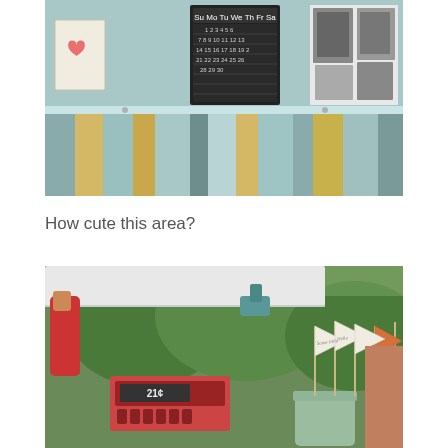[Figure (photo): A craft market booth showing a painted wooden table with colorful vertical stripes in teal, yellow, and gray. On the table are handmade items including a cloth bag with a heart design, a chalkboard calendar, and black and white photo prints.]
How cute this area?
[Figure (photo): An outdoor market scene showing a person in red holding up a white awning. In the foreground is a vintage red cash register showing '21c', and a mason jar holding small fabric flags on sticks with handwritten text, set against a background of green trees and brick buildings.]